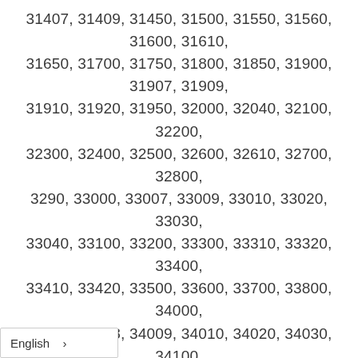31407, 31409, 31450, 31500, 31550, 31560, 31600, 31610, 31650, 31700, 31750, 31800, 31850, 31900, 31907, 31909, 31910, 31920, 31950, 32000, 32040, 32100, 32200, 32300, 32400, 32500, 32600, 32610, 32700, 32800, 3290, 33000, 33007, 33009, 33010, 33020, 33030, 33040, 33100, 33200, 33300, 33310, 33320, 33400, 33410, 33420, 33500, 33600, 33700, 33800, 34000, 34007, 34008, 34009, 34010, 34020, 34030, 34100, 34120, 34130, 34140, 34200, 34250, 34300, 34310, 34350, 34400, 34500, 34510, 34520, 34600, 34650, 34700, 34750, 34800, 34850, 34900, 35000, 35007, 35009, 35300, 35350, 35400, 35500, 35600, 35700, 35800, 35820, 35900, 35907, 35909, 35910, 35950, 36000, 36007, 36008, 36009, 36010, 36020, 36030, 36100, 36110, 36200, 36207, 36209, 36300, 36307, 36400, 36500, 36600, 36700, 36750, 36800,
English >